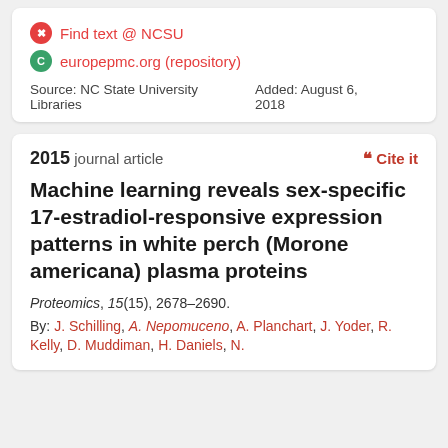Find text @ NCSU
europepmc.org (repository)
Source: NC State University Libraries
Added: August 6, 2018
2015 journal article
Cite it
Machine learning reveals sex-specific 17-estradiol-responsive expression patterns in white perch (Morone americana) plasma proteins
Proteomics, 15(15), 2678–2690.
By: J. Schilling, A. Nepomuceno, A. Planchart, J. Yoder, R. Kelly, D. Muddiman, H. Daniels, N.